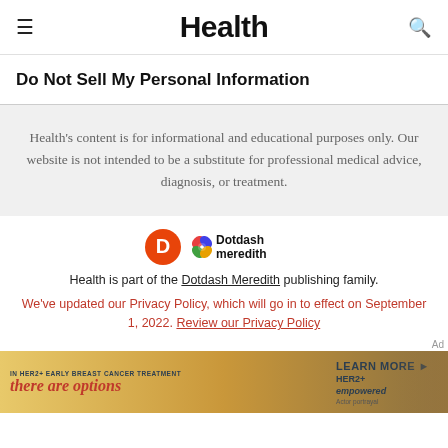Health
Do Not Sell My Personal Information
Health's content is for informational and educational purposes only. Our website is not intended to be a substitute for professional medical advice, diagnosis, or treatment.
[Figure (logo): Dotdash Meredith logo with orange D icon and colorful diamond pattern]
Health is part of the Dotdash Meredith publishing family.
We've updated our Privacy Policy, which will go in to effect on September 1, 2022. Review our Privacy Policy
[Figure (photo): Advertisement banner: IN HER2+ EARLY BREAST CANCER TREATMENT there are options | LEARN MORE HER2+ empowered | Actor portrayal]